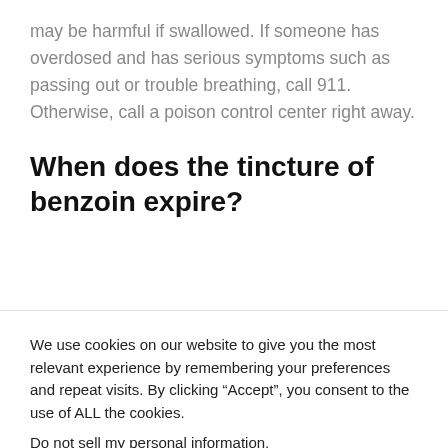may be harmful if swallowed. If someone has overdosed and has serious symptoms such as passing out or trouble breathing, call 911. Otherwise, call a poison control center right away.
When does the tincture of benzoin expire?
We use cookies on our website to give you the most relevant experience by remembering your preferences and repeat visits. By clicking “Accept”, you consent to the use of ALL the cookies. Do not sell my personal information.